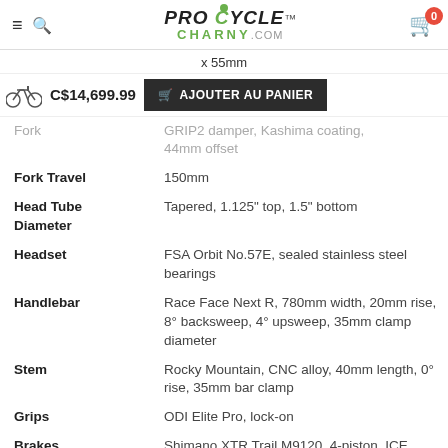Pro Cycle Charny.com — Navigation header with logo and cart
x 55mm
C$14,699.99  AJOUTER AU PANIER
| Spec | Value |
| --- | --- |
| Fork | GRIP2 damper, Kashima coating, 44mm offset |
| Fork Travel | 150mm |
| Head Tube Diameter | Tapered, 1.125" top, 1.5" bottom |
| Headset | FSA Orbit No.57E, sealed stainless steel bearings |
| Handlebar | Race Face Next R, 780mm width, 20mm rise, 8° backsweep, 4° upsweep, 35mm clamp diameter |
| Stem | Rocky Mountain, CNC alloy, 40mm length, 0° rise, 35mm bar clamp |
| Grips | ODI Elite Pro, lock-on |
| Brakes | Shimano XTR Trail M9120, 4-piston, ICE TECH metal pads, Shimano RT86 203mm rotors |
| Brake Levers | Shimano XTR Trail M9120 |